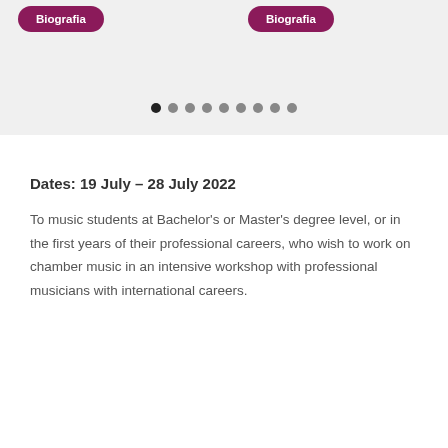[Figure (screenshot): Top grey section with two dark pink 'Biografia' buttons and a row of pagination dots below them.]
Dates: 19 July – 28 July 2022
To music students at Bachelor's or Master's degree level, or in the first years of their professional careers, who wish to work on chamber music in an intensive workshop with professional musicians with international careers.